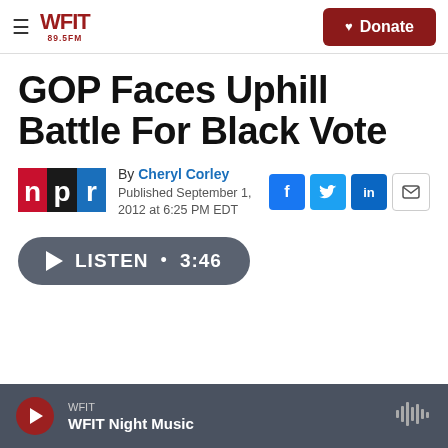WFIT 89.5FM — Donate
GOP Faces Uphill Battle For Black Vote
By Cheryl Corley
Published September 1, 2012 at 6:25 PM EDT
[Figure (logo): NPR logo with red, black, and blue segments]
[Figure (infographic): Listen button showing play icon and duration 3:46]
WFIT
WFIT Night Music